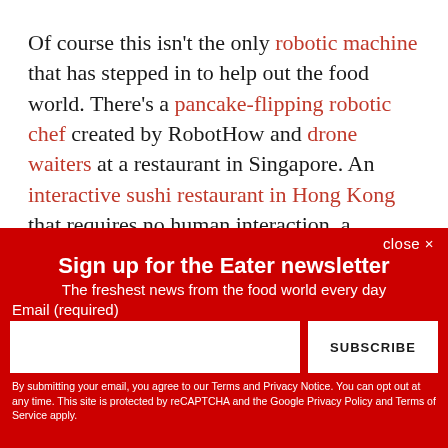Of course this isn't the only robotic machine that has stepped in to help out the food world. There's a pancake-flipping robotic chef created by RobotHow and drone waiters at a restaurant in Singapore. An interactive sushi restaurant in Hong Kong that requires no human interaction, a technicolor robot restaurant in Tokyo, and the rise of several robot-run eateries in China has some
close ✕
Sign up for the Eater newsletter
The freshest news from the food world every day
Email (required)
SUBSCRIBE
By submitting your email, you agree to our Terms and Privacy Notice. You can opt out at any time. This site is protected by reCAPTCHA and the Google Privacy Policy and Terms of Service apply.